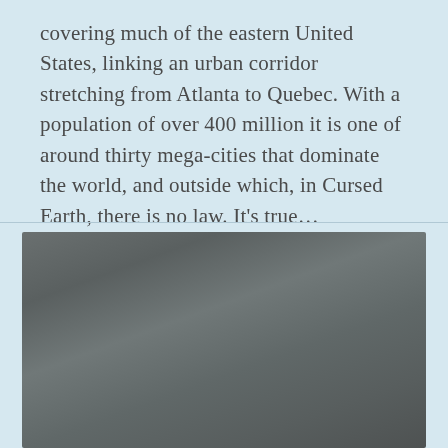covering much of the eastern United States, linking an urban corridor stretching from Atlanta to Quebec. With a population of over 400 million it is one of around thirty mega-cities that dominate the world, and outside which, in Cursed Earth, there is no law. It's true…
[Figure (photo): A dark, blurred photograph with grey and dark tones, content largely indistinguishable.]